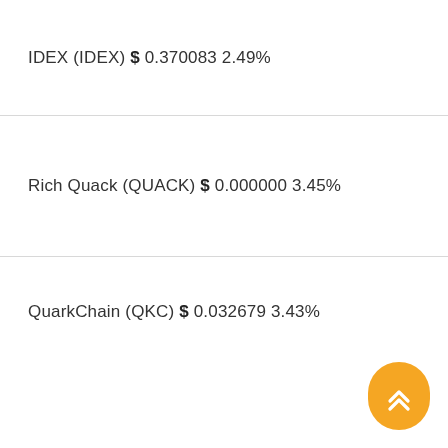IDEX (IDEX) $ 0.370083 2.49%
Rich Quack (QUACK) $ 0.000000 3.45%
QuarkChain (QKC) $ 0.032679 3.43%